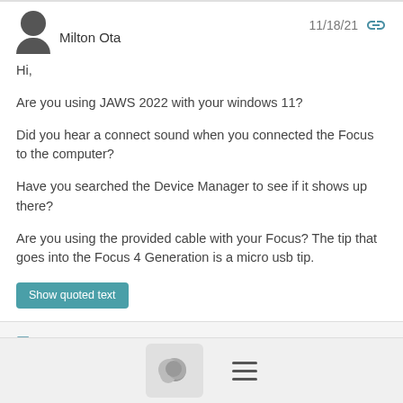Milton Ota  11/18/21
Hi,
Are you using JAWS 2022 with your windows 11?
Did you hear a connect sound when you connected the Focus to the computer?
Have you searched the Device Manager to see if it shows up there?
Are you using the provided cable with your Focus? The tip that goes into the Focus 4 Generation is a micro usb tip.
Show quoted text
≡ More
[Figure (screenshot): Bottom navigation bar with chat icon and hamburger menu icon]